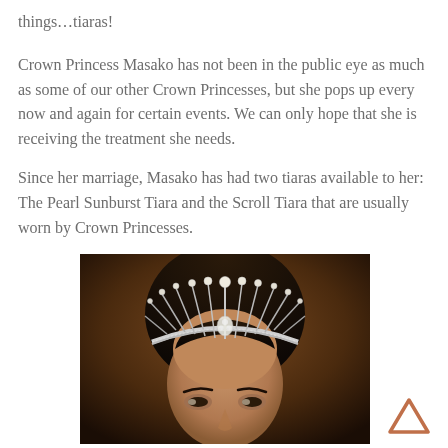things...tiaras!
Crown Princess Masako has not been in the public eye as much as some of our other Crown Princesses, but she pops up every now and again for certain events. We can only hope that she is receiving the treatment she needs.
Since her marriage, Masako has had two tiaras available to her: The Pearl Sunburst Tiara and the Scroll Tiara that are usually worn by Crown Princesses.
[Figure (photo): Crown Princess Masako wearing the Pearl Sunburst Tiara — a diamond and pearl sunburst-style tiara — photographed from mid-face upward against a warm brown background. Watermark reads ROYAL JEWELS FAN CLUB.]